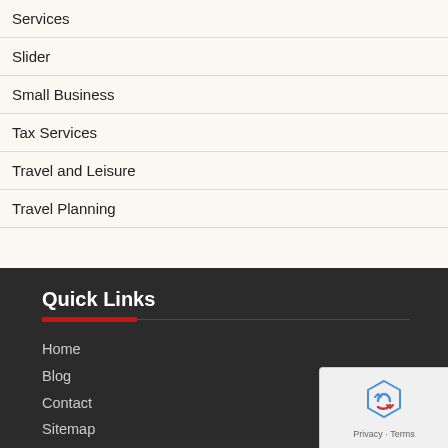Services
Slider
Small Business
Tax Services
Travel and Leisure
Travel Planning
Quick Links
Home
Blog
Contact
Sitemap